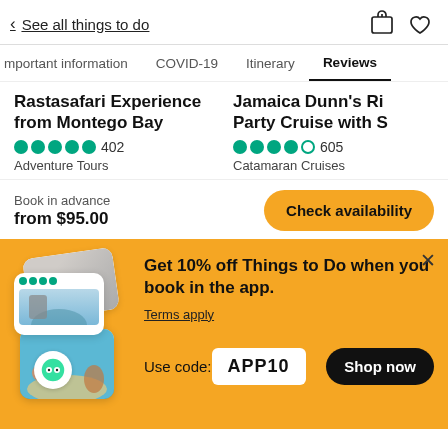< See all things to do
Important information   COVID-19   Itinerary   Reviews
Rastasafari Experience from Montego Bay
★★★★★ 402
Adventure Tours
Jamaica Dunn's Ri... Party Cruise with S...
★★★★○ 605
Catamaran Cruises
Book in advance
from $95.00
Check availability
[Figure (screenshot): Promotional banner with TripAdvisor app promotion showing stacked photo cards]
Get 10% off Things to Do when you book in the app.
Terms apply
Use code: APP10
Shop now